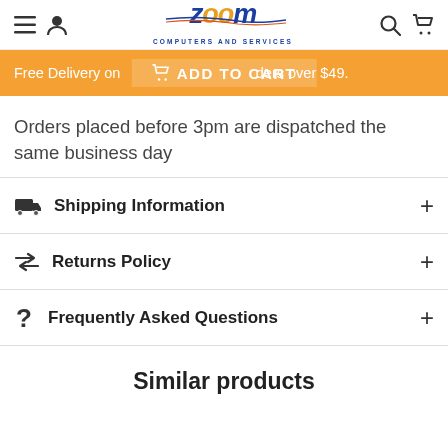Zoom Computers and Services
Free Delivery on all Supply orders over $49. ADD TO CART
Orders placed before 3pm are dispatched the same business day
Shipping Information
Returns Policy
Frequently Asked Questions
Similar products